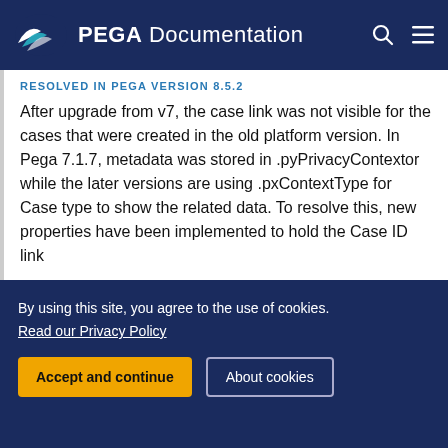PEGA Documentation
RESOLVED IN PEGA VERSION 8.5.2
After upgrade from v7, the case link was not visible for the cases that were created in the old platform version. In Pega 7.1.7, metadata was stored in .pyPrivacyContextor while the later versions are using .pxContextType for Case type to show the related data. To resolve this, new properties have been implemented to hold the Case ID link
READY TO CRUSH COMPLEXITY?
By using this site, you agree to the use of cookies.
Read our Privacy Policy